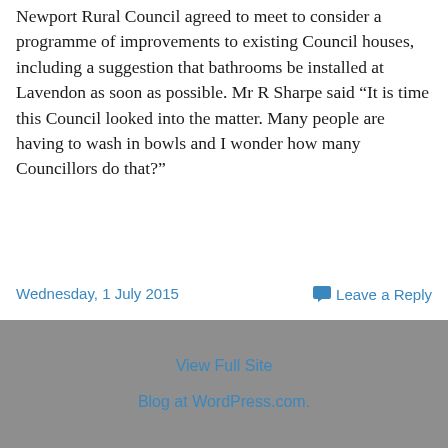Newport Rural Council agreed to meet to consider a programme of improvements to existing Council houses, including a suggestion that bathrooms be installed at Lavendon as soon as possible. Mr R Sharpe said “It is time this Council looked into the matter. Many people are having to wash in bowls and I wonder how many Councillors do that?”
Wednesday, 1 July 2015
Leave a Reply
View Full Site
Blog at WordPress.com.